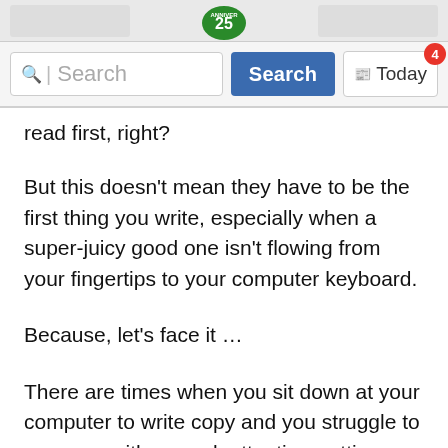[Figure (screenshot): Website header with logo area (anniversary badge visible at top center) and search bar with search button and Today button with badge showing 4]
read first, right?
But this doesn’t mean they have to be the first thing you write, especially when a super-juicy good one isn’t flowing from your fingertips to your computer keyboard.
Because, let’s face it …
There are times when you sit down at your computer to write copy and you struggle to come up with a good, attention-getting headline.
Then you wind up staring at your computer screen